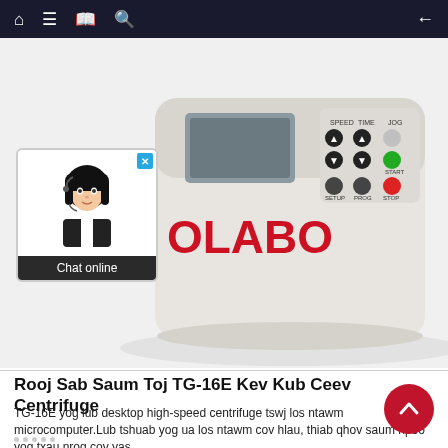Navigation bar with home, menu, book, search icons and back arrow
[Figure (photo): OLABO brand TG-16E desktop high-speed centrifuge machine in light gray/beige color, showing the control panel with buttons labeled SPEED, TIME, JOG, START, SETUP, PROG, STOP, and a small LCD screen. The OLABO logo appears in red on the front panel.]
Chat online
Rooj Sab Saum Toj TG-16E Kev Kub Ceev Centrifuge
TG-16E yog lub desktop high-speed centrifuge tswj los ntawm microcomputer.Lub tshuab yog ua los ntawm cov hlau, thiab qhov saum npoo yog txau nrog cov yas,
KEV NUG
NTHUAV DAV